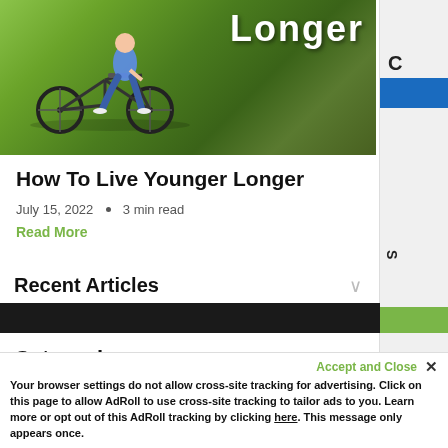[Figure (photo): Photo of person riding a bicycle in a park with green grass and trees in the background, with text 'Longer' overlaid in white bold font at top right]
How To Live Younger Longer
July 15, 2022  •  3 min read
Read More
Recent Articles
Categories
Your browser settings do not allow cross-site tracking for advertising. Click on this page to allow AdRoll to use cross-site tracking to tailor ads to you. Learn more or opt out of this AdRoll tracking by clicking here. This message only appears once.